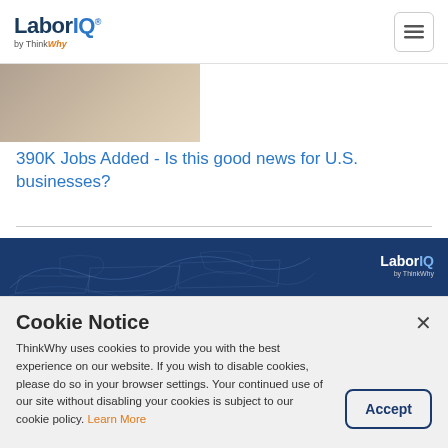LaborIQ by ThinkWhy
[Figure (photo): Partial view of a person, sepia/black-and-white tone, article thumbnail image]
390K Jobs Added - Is this good news for U.S. businesses?
[Figure (illustration): LaborIQ by ThinkWhy blue banner with U.S. map outline in background and LaborIQ logo on right]
Cookie Notice
ThinkWhy uses cookies to provide you with the best experience on our website. If you wish to disable cookies, please do so in your browser settings. Your continued use of our site without disabling your cookies is subject to our cookie policy. Learn More